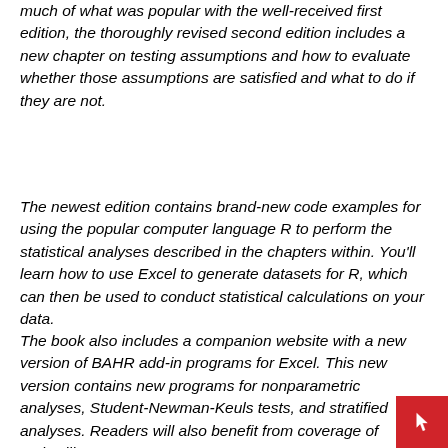much of what was popular with the well-received first edition, the thoroughly revised second edition includes a new chapter on testing assumptions and how to evaluate whether those assumptions are satisfied and what to do if they are not.
The newest edition contains brand-new code examples for using the popular computer language R to perform the statistical analyses described in the chapters within. You'll learn how to use Excel to generate datasets for R, which can then be used to conduct statistical calculations on your data.
The book also includes a companion website with a new version of BAHR add-in programs for Excel. This new version contains new programs for nonparametric analyses, Student-Newman-Keuls tests, and stratified analyses. Readers will also benefit from coverage of topics like: